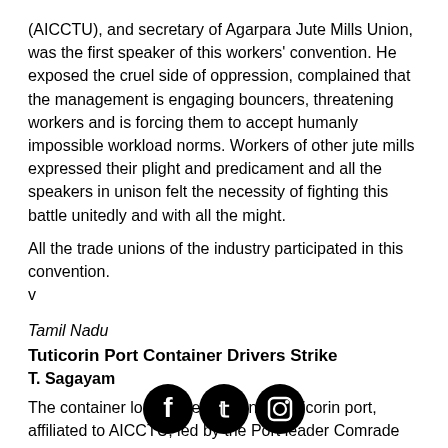(AICCTU), and secretary of Agarpara Jute Mills Union, was the first speaker of this workers' convention. He exposed the cruel side of oppression, complained that the management is engaging bouncers, threatening workers and is forcing them to accept humanly impossible workload norms. Workers of other jute mills expressed their plight and predicament and all the speakers in unison felt the necessity of fighting this battle unitedly and with all the might.
All the trade unions of the industry participated in this convention. v
Tamil Nadu
Tuticorin Port Container Drivers Strike
T. Sagayam
The container lorry drivers union of Tuticorin port, affiliated to AICCTU, led by the Port leader Comrade Sagayam and the state president Comrade Sankara Pandian, struck work on 28th and 29th May on the issue of the death of a worker, who was a crane operator, while on duty in the DBGT terminal owned by a private company. All workers in that term      ht on     ke against the Port administration and the...
[Figure (logo): Social media icons: Facebook, Twitter, Instagram]